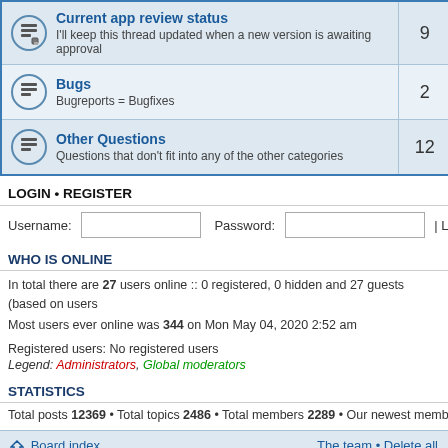| Forum | Posts |
| --- | --- |
| Current app review status — I'll keep this thread updated when a new version is awaiting approval | 9 |
| Bugs — Bugreports = Bugfixes | 2 |
| Other Questions — Questions that don't fit into any of the other categories | 12 |
LOGIN • REGISTER
Username: [input] Password: [input] | Log me on autom
WHO IS ONLINE
In total there are 27 users online :: 0 registered, 0 hidden and 27 guests (based on users
Most users ever online was 344 on Mon May 04, 2020 2:52 am
Registered users: No registered users
Legend: Administrators, Global moderators
STATISTICS
Total posts 12369 • Total topics 2486 • Total members 2289 • Our newest member JWin
Board index   The team • Delete all
Powered by phpBB® Forum Software © phpBB Gr